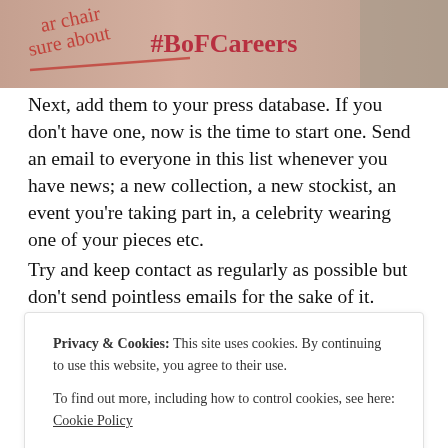[Figure (photo): Header image showing handwritten text and #BoFCareers hashtag on a pink/red background with a person's legs visible]
Next, add them to your press database. If you don't have one, now is the time to start one. Send an email to everyone in this list whenever you have news; a new collection, a new stockist, an event you're taking part in, a celebrity wearing one of your pieces etc.
Try and keep contact as regularly as possible but don't send pointless emails for the sake of it. Always be interesting and informative.
You may get a response saying they're not interested in this story or
Privacy & Cookies:  This site uses cookies. By continuing to use this website, you agree to their use.
To find out more, including how to control cookies, see here: Cookie Policy
Close and accept